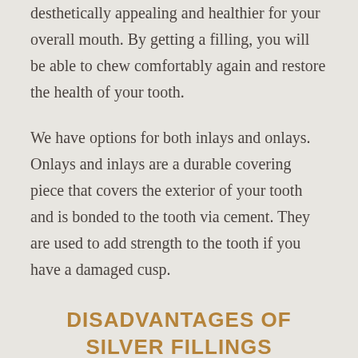desthetically appealing and healthier for your overall mouth. By getting a filling, you will be able to chew comfortably again and restore the health of your tooth.
We have options for both inlays and onlays. Onlays and inlays are a durable covering piece that covers the exterior of your tooth and is bonded to the tooth via cement. They are used to add strength to the tooth if you have a damaged cusp.
DISADVANTAGES OF SILVER FILLINGS
Not only do silver fillings look unnatural against the